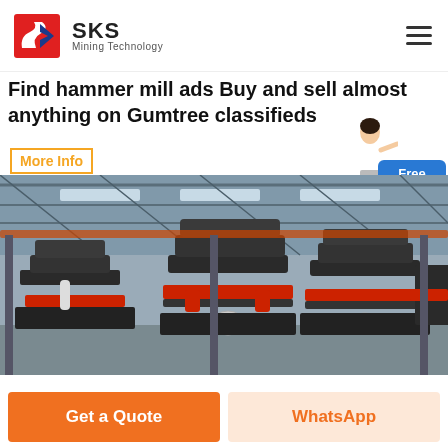SKS Mining Technology
Find hammer mill ads Buy and sell almost anything on Gumtree classifieds
More Info
[Figure (photo): Industrial factory floor with multiple large cone crusher machines arranged in a row, with red trim and black bodies, inside a large steel-framed warehouse with skylights.]
Free chat
Get a Quote
WhatsApp